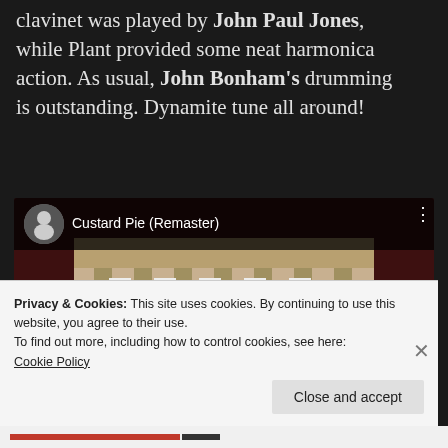clavinet was played by John Paul Jones, while Plant provided some neat harmonica action. As usual, John Bonham's drumming is outstanding. Dynamite tune all around!
[Figure (screenshot): YouTube video embed showing 'Custard Pie (Remaster)' with Led Zeppelin Physical Graffiti album cover as thumbnail, red play button in center]
Privacy & Cookies: This site uses cookies. By continuing to use this website, you agree to their use.
To find out more, including how to control cookies, see here:
Cookie Policy